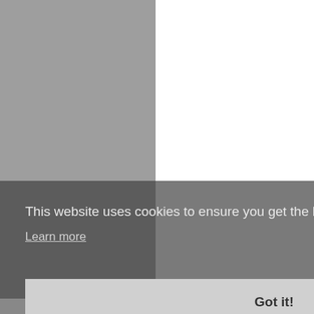[Figure (screenshot): Website screenshot showing a cookie consent overlay dialog. The background shows a webpage with a gray left panel and white right area. A dark gray cookie consent banner overlays the lower portion of the page.]
This website uses cookies to ensure you get the best experience on our website.
Learn more
Got it!